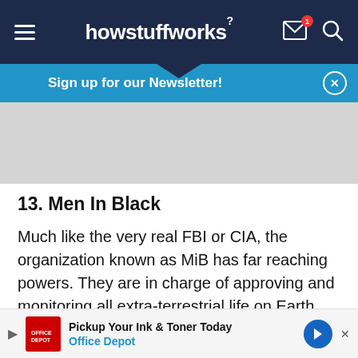howstuffworks
Sign up for our Newsletter!
[Figure (other): Gray advertisement placeholder banner]
13. Men In Black
Much like the very real FBI or CIA, the organization known as MiB has far reaching powers. They are in charge of approving and monitoring all extra-terrestrial life on Earth. Notable members are Agent J (Will Smith), Agent K (Tommy Lee Jones), and the late Agent Zed (Rip Torn). The Men in Black operate...
[Figure (other): Bottom advertisement banner: Pickup Your Ink & Toner Today - Office Depot]